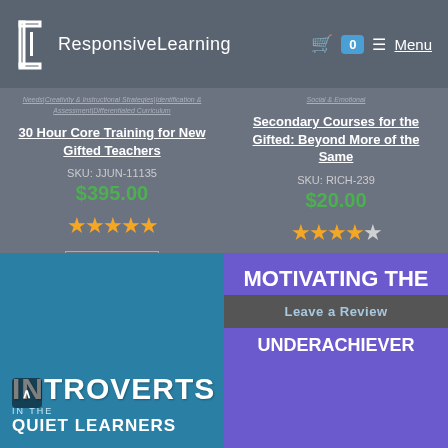ResponsiveLearning | Menu | Cart 0
Needs|Creativity & Instructional Strategies|Identification & Assessment|Differentiated Curriculum
30 Hour Core Training for New Gifted Teachers
SKU: JJUN-11135
$395.00
Add to cart
Social & Emotional
Secondary Courses for the Gifted: Beyond More of the Same
SKU: RICH-239
$20.00
Add to cart
[Figure (photo): Book cover: INTROVERTS IN THE QUIET LEARNERS]
[Figure (photo): Book cover: MOTIVATING THE UNDERACHIEVER with Leave a Review overlay]